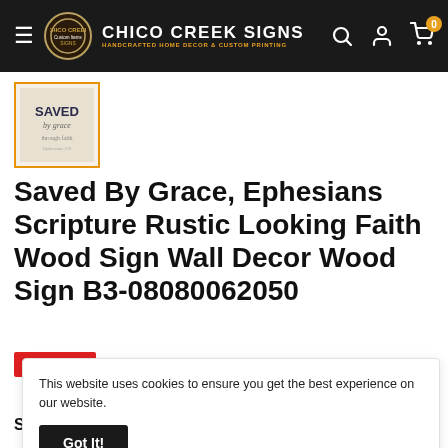CHICO CREEK SIGNS — HANDCRAFTED HOME DECOR & CUSTOM PRINTING
[Figure (photo): Thumbnail product image of 'Saved By Grace' wood sign with orange border]
Saved By Grace, Ephesians Scripture Rustic Looking Faith Wood Sign Wall Decor Wood Sign B3-08080062050
Save 85%
This website uses cookies to ensure you get the best experience on our website.
Got It!
Size: 8" x 8"